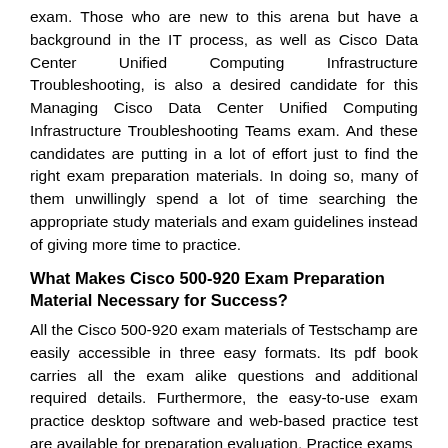exam. Those who are new to this arena but have a background in the IT process, as well as Cisco Data Center Unified Computing Infrastructure Troubleshooting, is also a desired candidate for this Managing Cisco Data Center Unified Computing Infrastructure Troubleshooting Teams exam. And these candidates are putting in a lot of effort just to find the right exam preparation materials. In doing so, many of them unwillingly spend a lot of time searching the appropriate study materials and exam guidelines instead of giving more time to practice.
What Makes Cisco 500-920 Exam Preparation Material Necessary for Success?
All the Cisco 500-920 exam materials of Testschamp are easily accessible in three easy formats. Its pdf book carries all the exam alike questions and additional required details. Furthermore, the easy-to-use exam practice desktop software and web-based practice test are available for preparation evaluation. Practice exams